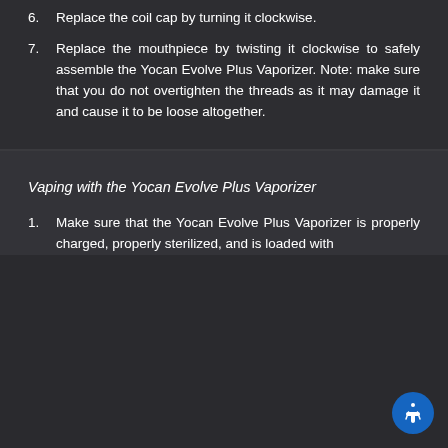6. Replace the coil cap by turning it clockwise.
7. Replace the mouthpiece by twisting it clockwise to safely assemble the Yocan Evolve Plus Vaporizer. Note: make sure that you do not overtighten the threads as it may damage it and cause it to be loose altogether.
Vaping with the Yocan Evolve Plus Vaporizer
1. Make sure that the Yocan Evolve Plus Vaporizer is properly charged, properly sterilized, and is loaded with